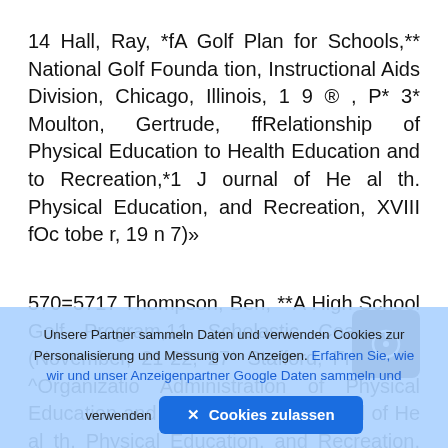14 Hall, Ray, *fA Golf Plan for Schools,** National Golf Founda tion, Instructional Aids Division, Chicago, Illinois, 1 9 ® , P* 3* Moulton, Gertrude, ffRelationship of Physical Education to Health Education and to Recreation,*1 J ournal of He al th. Physical Education, and Recreation, XVIII fOc tobe r, 19 n 7)»
570=5717 Thompson, Ben, **A High School Golf Program,11 Scholastic Coach, IX (November, 21-22, 27* Stafford, Frank S*, ^Organizatio Administration of Physical Education and Recreation, ** J ournal of He al th, Physical Education and Recreation, XVI (February 1 9 ....)
Unsere Partner sammeln Daten und verwenden Cookies zur Personalisierung und Messung von Anzeigen. Erfahren Sie, wie wir und unser Anzeigenpartner Google Daten sammeln und verwenden